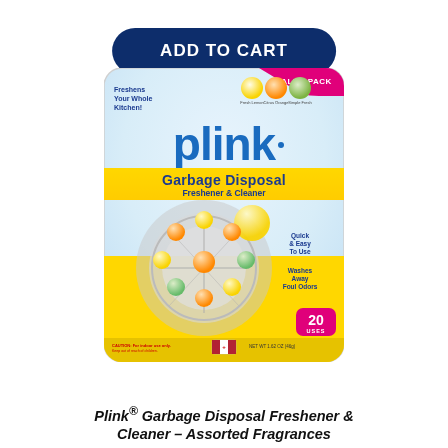ADD TO CART
[Figure (photo): Plink Garbage Disposal Freshener & Cleaner product package — a blister card with VALUE PACK badge, Freshens Your Whole Kitchen text, three fruit flavor icons (Fresh Lemon, Citrus Orange, Simple Fresh), Plink brand logo in blue, yellow band reading Garbage Disposal Freshener & Cleaner, circular blister pack of colorful scented balls over a sink drain, Quick & Easy To Use / Washes Away Foul Odors text, 20 USES pink badge, caution text, US/Canada flag, and net wt label]
Plink® Garbage Disposal Freshener & Cleaner – Assorted Fragrances